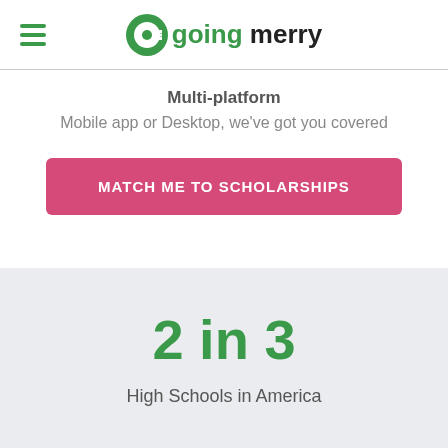going merry
Multi-platform
Mobile app or Desktop, we've got you covered
MATCH ME TO SCHOLARSHIPS
2 in 3
High Schools in America